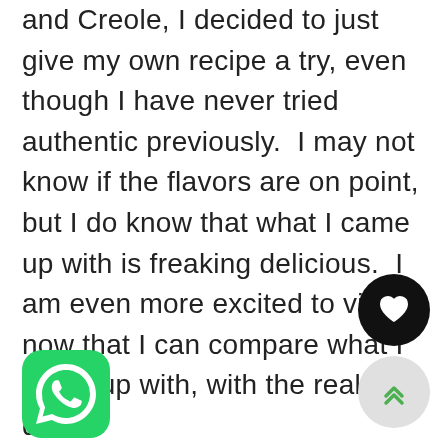and Creole, I decided to just give my own recipe a try, even though I have never tried authentic previously.  I may not know if the flavors are on point, but I do know that what I came up with is freaking delicious.  I am even more excited to visit, now that I can compare what I came up with, with the real deal.
[Figure (logo): WhatsApp app icon — green rounded square with white phone/chat bubble logo]
[Figure (illustration): Black circular button with white heart icon (favorite/like button)]
[Figure (illustration): Light gray circular button with green double chevron up arrow (scroll to top button)]